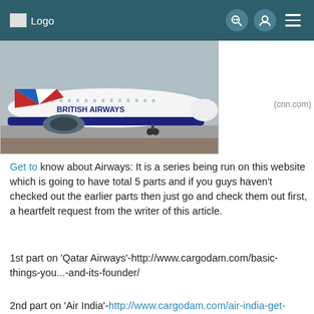Logo
[Figure (photo): British Airways aircraft parked at airport tarmac, showing nose and tail fins with Union Jack livery]
(cnn.com)
Get to know about Airways: It is a series being run on this website which is going to have total 5 parts and if you guys haven't checked out the earlier parts then just go and check them out first, a heartfelt request from the writer of this article.
1st part on 'Qatar Airways'-http://www.cargodam.com/basic-things-you...-and-its-founder/
2nd part on 'Air India'-http://www.cargodam.com/air-india-get-to...w-airways-part-2/